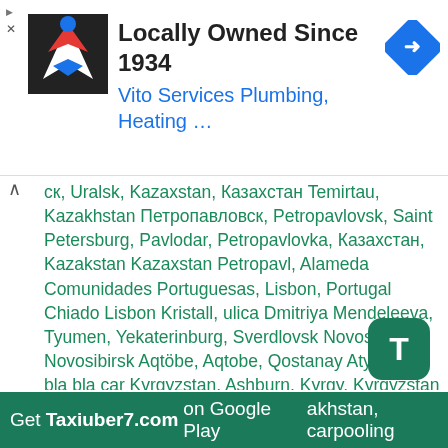[Figure (infographic): Ad banner for Vito Services Plumbing, Heating with logo and navigation icon]
ск, Uralsk, Kazaxstan, Казахстан Temirtau, Kazakhstan Петропавловск, Petropavlovsk, Saint Petersburg, Pavlodar, Petropavlovka, Казахстан, Kazakstan Kazaxstan Petropavl, Alameda Comunidades Portuguesas, Lisbon, Portugal Chiado Lisbon Kristall, ulica Dmitriya Mendeleeva, Tyumen, Yekaterinburg, Sverdlovsk Novosibirsk, Novosibirsk Aqtöbe, Aqtobe, Qostanay Atyrau, or bla bla car Kyrgyzstan, Ashburn, Kyrgy, Kyrgyzstan Alamedin Chuy Kazakhstan, Kyrgy , Kazakhstan Oral, Kazakstan, Уральск, Uralsk, Kazaxstan, Казахстан Temirtau, Kazakhstan Петропавловск, Petropavlovsk, Saint Petersburg, Pavlodar, Petropavlovka, Казахстан, Kazakstan Kazaxstan Petropavl, Alameda Comunidades Portuguesas, Lisbon, Portugal Chiado Lisbon Kristall, ulica Dmitriya Mendeleeva, Tyumen, Yekaterinburg, Sverdlovsk Novosibirsk, Novosibirsk Aqtöbe, Aqtobe, Qostanay Atyrau, taxi Kyrgyzstan, carpooling Kyrgyzstan, taxi Ashburn, carpooling Ashburn, taxi carpooling taxi Kyrgy, carpooling Kyrgy, taxi Kyrgyzstan carpooling Kyrgyzstan taxi Alamedin carpooling Kazakhstan, carpooling Kazakhstan, taxi Kyrgy carpooling Kyrgy taxi, carpooling taxi
[Figure (screenshot): Bottom banner: Get Taxiuber7.com on Google Play]
[Figure (other): T button green rounded square]